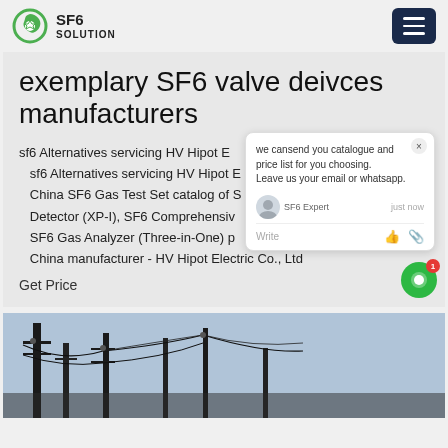SF6 SOLUTION
exemplary SF6 valve deivces manufacturers
sf6 Alternatives servicing HV Hipot Electric Co., Ltd; sf6 Alternatives servicing HV Hipot Electric Co., Ltd; China SF6 Gas Test Set catalog of SF6 Gas Leak Detector (XP-I), SF6 Comprehensive tester, Portable SF6 Gas Analyzer (Three-in-One) provided by China manufacturer - HV Hipot Electric Co., Ltd
Get Price
[Figure (photo): Aerial view of electrical power transmission towers and cables against a sky background]